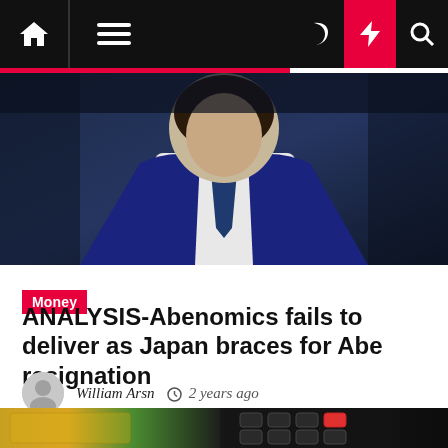Navigation bar with home, menu, moon/dark-mode, lightning/breaking, and search icons
[Figure (photo): Man in dark suit and tie, photographed from behind/side, dark background]
Money
ANALYSIS-Abenomics fails to deliver as Japan braces for Abe resignation
William Arsn  2 years ago
[Figure (photo): Calculator on top of Australian dollar banknotes, close-up shot]